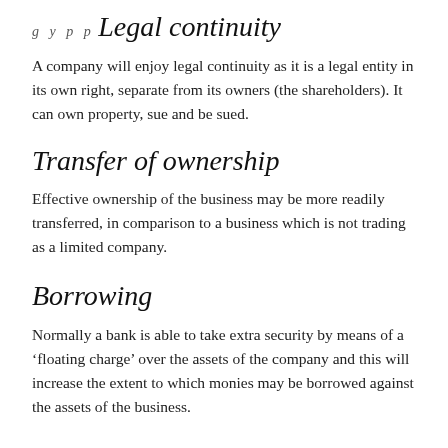Legal continuity
A company will enjoy legal continuity as it is a legal entity in its own right, separate from its owners (the shareholders). It can own property, sue and be sued.
Transfer of ownership
Effective ownership of the business may be more readily transferred, in comparison to a business which is not trading as a limited company.
Borrowing
Normally a bank is able to take extra security by means of a ‘floating charge’ over the assets of the company and this will increase the extent to which monies may be borrowed against the assets of the business.